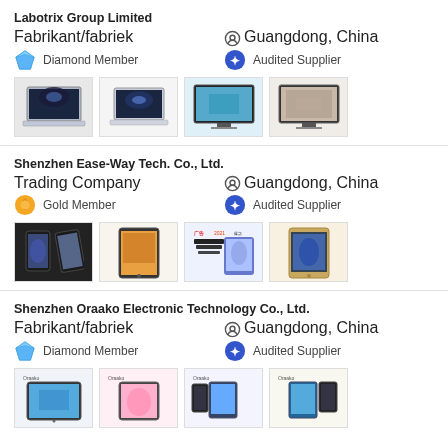Labotrix Group Limited
Fabrikant/fabriek
Guangdong, China
Diamond Member
Audited Supplier
[Figure (photo): Product images: laptops and monitors from Labotrix Group Limited]
Shenzhen Ease-Way Tech. Co., Ltd.
Trading Company
Guangdong, China
Gold Member
Audited Supplier
[Figure (photo): Product images: tablets from Shenzhen Ease-Way Tech. Co., Ltd.]
Shenzhen Oraako Electronic Technology Co., Ltd.
Fabrikant/fabriek
Guangdong, China
Diamond Member
Audited Supplier
[Figure (photo): Product images: tablets from Shenzhen Oraako Electronic Technology Co., Ltd.]